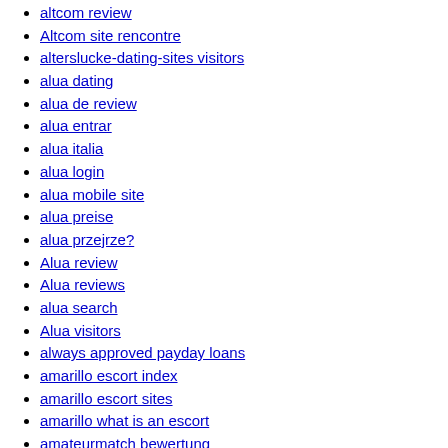altcom review
Altcom site rencontre
alterslucke-dating-sites visitors
alua dating
alua de review
alua entrar
alua italia
alua login
alua mobile site
alua preise
alua przejrze?
Alua review
Alua reviews
alua search
Alua visitors
always approved payday loans
amarillo escort index
amarillo escort sites
amarillo what is an escort
amateurmatch bewertung
amateurmatch come funziona
amateurmatch dating site 2021
amateurmatch datingsite
amateurmatch gratuit